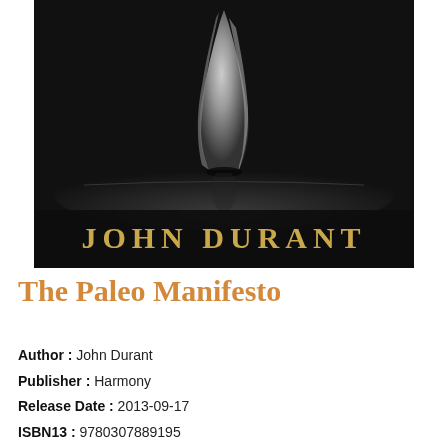[Figure (photo): Book cover of 'The Paleo Manifesto' by John Durant. Dark background with a stone hand axe/flint tool standing upright on a reflective surface. Author name 'JOHN DURANT' displayed in large gold/yellow serif text at the bottom of the image.]
The Paleo Manifesto
Author : John Durant
Publisher : Harmony
Release Date : 2013-09-17
ISBN13 : 9780307889195